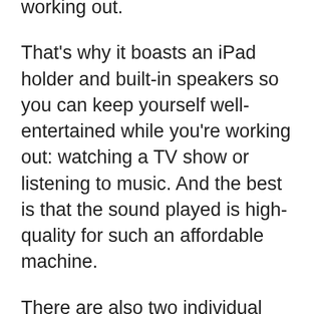working out.
That's why it boasts an iPad holder and built-in speakers so you can keep yourself well-entertained while you're working out: watching a TV show or listening to music. And the best is that the sound played is high-quality for such an affordable machine.
There are also two individual bottle holders so you can remain hydrated during your workout session and run for as long as you want, as well as a towel holder.
Then there are the disadvantages:
The maximum speed this treadmill allows is just